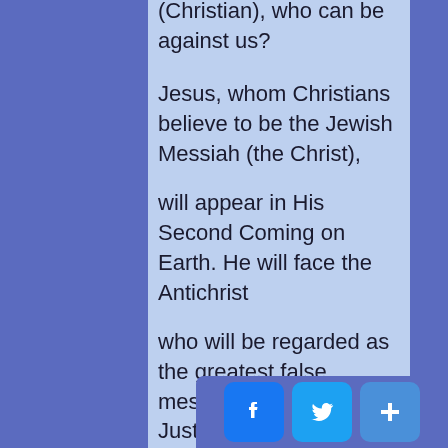(Christian), who can be against us?

Jesus, whom Christians believe to be the Jewish Messiah (the Christ),

will appear in His Second Coming on Earth. He will face the Antichrist

who will be regarded as the greatest false messiah in Christianity. Just

as Christ is the savior and the ideal mo... for humanity, his...
[Figure (other): Social sharing bar with Facebook, Twitter, and share buttons at bottom right]